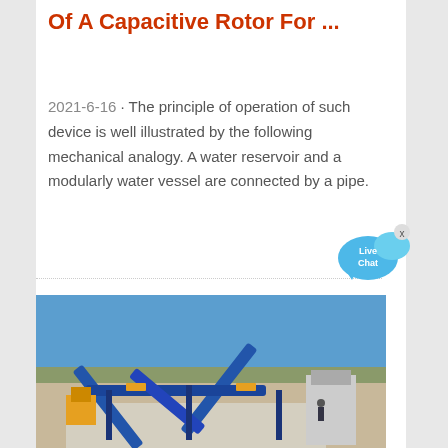Of A Capacitive Rotor For ...
2021-6-16 · The principle of operation of such device is well illustrated by the following mechanical analogy. A water reservoir and a modularly water vessel are connected by a pipe.
[Figure (other): Live Chat button widget with speech bubble icon in blue]
[Figure (photo): Outdoor industrial mining/crushing plant with blue conveyor belts arranged in an X pattern, set in an arid landscape under a clear blue sky]